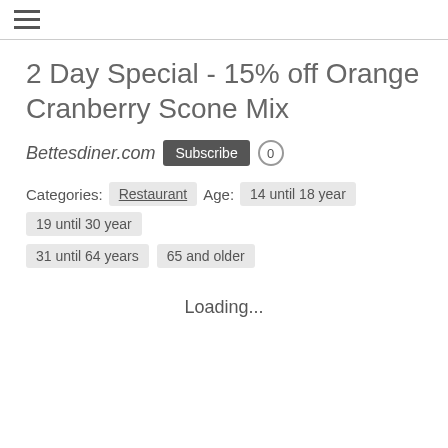☰
2 Day Special - 15% off Orange Cranberry Scone Mix
Bettesdiner.com  Subscribe  0
Categories: Restaurant  Age:  14 until 18 year  19 until 30 year  31 until 64 years  65 and older
Loading...